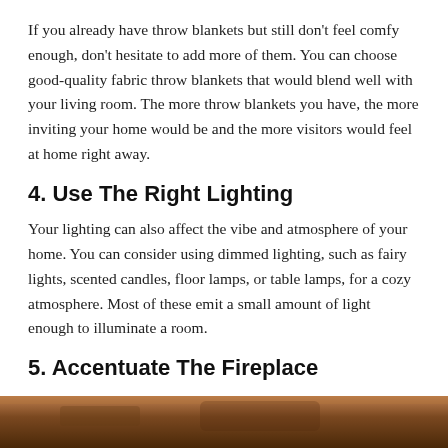If you already have throw blankets but still don't feel comfy enough, don't hesitate to add more of them. You can choose good-quality fabric throw blankets that would blend well with your living room. The more throw blankets you have, the more inviting your home would be and the more visitors would feel at home right away.
4. Use The Right Lighting
Your lighting can also affect the vibe and atmosphere of your home. You can consider using dimmed lighting, such as fairy lights, scented candles, floor lamps, or table lamps, for a cozy atmosphere. Most of these emit a small amount of light enough to illuminate a room.
5. Accentuate The Fireplace
[Figure (photo): Bottom strip of a photo, partially visible, showing warm brown/orange tones suggesting a fireplace or wooden surface.]